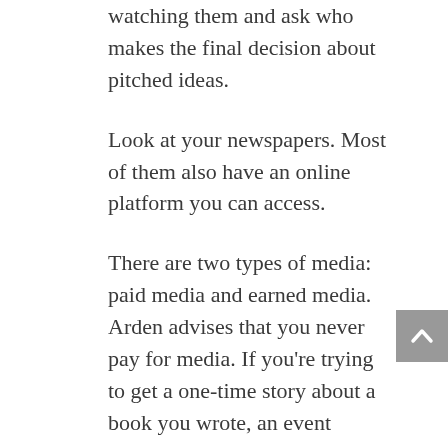watching them and ask who makes the final decision about pitched ideas.
Look at your newspapers. Most of them also have an online platform you can access.
There are two types of media: paid media and earned media. Arden advises that you never pay for media. If you’re trying to get a one-time story about a book you wrote, an event coming up, etc., you don’t want to have to pay for 6-months of ads to share that story.
You can also reach out to a PR representative and ask to buy a list from them of names and